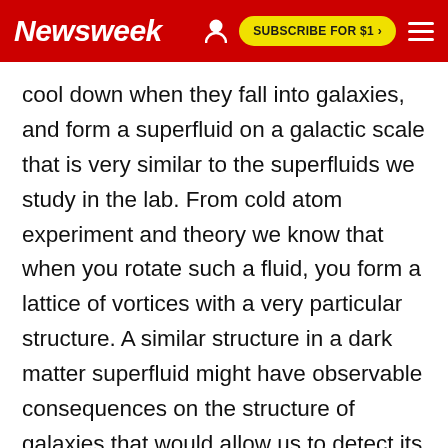Newsweek | SUBSCRIBE FOR $1 >
cool down when they fall into galaxies, and form a superfluid on a galactic scale that is very similar to the superfluids we study in the lab. From cold atom experiment and theory we know that when you rotate such a fluid, you form a lattice of vortices with a very particular structure. A similar structure in a dark matter superfluid might have observable consequences on the structure of galaxies that would allow us to detect its presence."
This story has been updated to include further